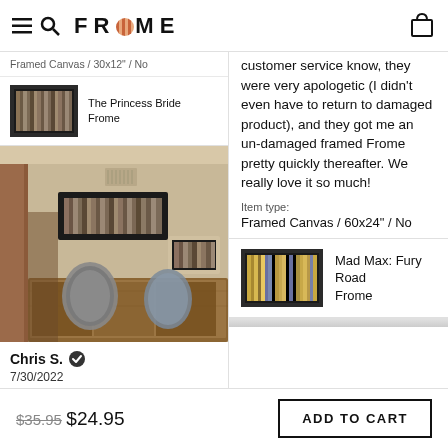FROME
Framed Canvas / 30x12" / No
The Princess Bride Frome
[Figure (photo): Interior room photo showing a framed Frome artwork hanging on a wall above a dresser with decorative lamps]
Chris S. ✓
7/30/2022
customer service know, they were very apologetic (I didn't even have to return to damaged product), and they got me an un-damaged framed Frome pretty quickly thereafter. We really love it so much!
Item type:
Framed Canvas / 60x24" / No
Mad Max: Fury Road Frome
$35.95 $24.95
ADD TO CART